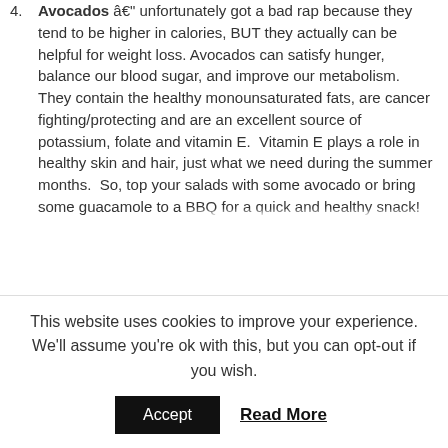Avocados — unfortunately got a bad rap because they tend to be higher in calories, BUT they actually can be helpful for weight loss. Avocados can satisfy hunger, balance our blood sugar, and improve our metabolism.  They contain the healthy monounsaturated fats, are cancer fighting/protecting and are an excellent source of potassium, folate and vitamin E.  Vitamin E plays a role in healthy skin and hair, just what we need during the summer months.  So, top your salads with some avocado or bring some guacamole to a BBQ for a quick and healthy snack!
This website uses cookies to improve your experience. We'll assume you're ok with this, but you can opt-out if you wish.